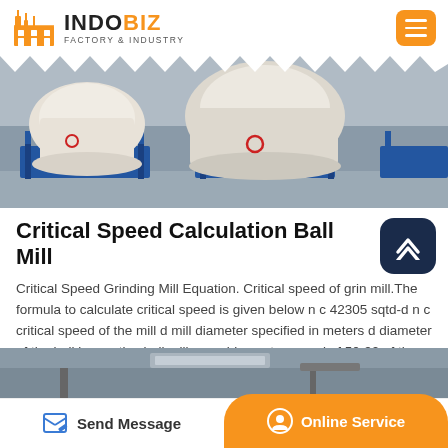INDOBIZ FACTORY & INDUSTRY
[Figure (photo): Industrial factory floor with large white bulk bags sitting on blue metal frames/stands]
Critical Speed Calculation Ball Mill
Critical Speed Grinding Mill Equation. Critical speed of grinding mill.The formula to calculate critical speed is given below n c 42305 sqtd-d n c critical speed of the mill d mill diameter specified in meters d diameter of the ball in practice ball mills are driven at a speed of 50-90 of the critical speed.
[Figure (photo): Industrial facility interior showing ceiling and equipment]
Send Message | Online Service